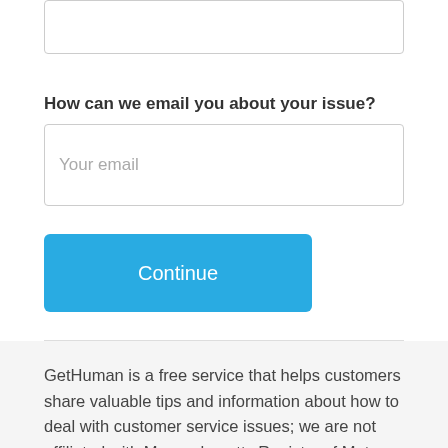How can we email you about your issue?
Your email
Continue
GetHuman is a free service that helps customers share valuable tips and information about how to deal with customer service issues; we are not affiliated with Massachusetts Registry of Motor Vehicles (DMV/RMV) in any way.